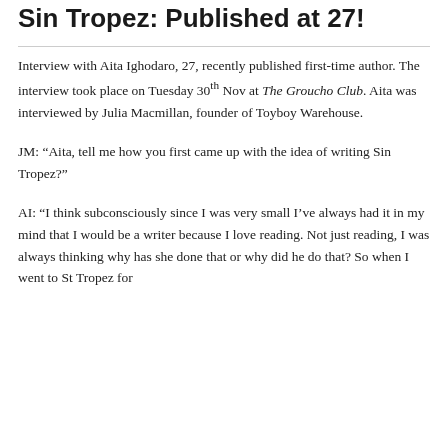Sin Tropez: Published at 27!
Interview with Aita Ighodaro, 27, recently published first-time author. The interview took place on Tuesday 30th Nov at The Groucho Club. Aita was interviewed by Julia Macmillan, founder of Toyboy Warehouse.
JM: “Aita, tell me how you first came up with the idea of writing Sin Tropez?”
AI: “I think subconsciously since I was very small I’ve always had it in my mind that I would be a writer because I love reading. Not just reading, I was always thinking why has she done that or why did he do that? So when I went to St Tropez for